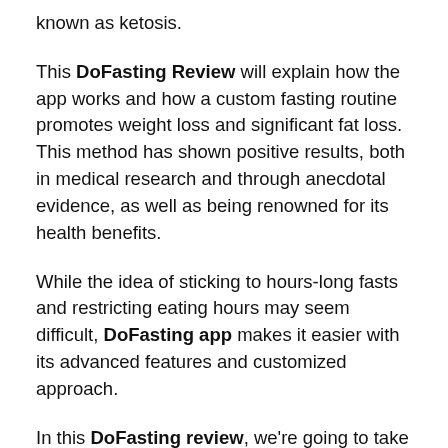known as ketosis.
This DoFasting Review will explain how the app works and how a custom fasting routine promotes weight loss and significant fat loss. This method has shown positive results, both in medical research and through anecdotal evidence, as well as being renowned for its health benefits.
While the idea of sticking to hours-long fasts and restricting eating hours may seem difficult, DoFasting app makes it easier with its advanced features and customized approach.
In this DoFasting review, we're going to take a look at the DoFasting app and the significant role it can play in your successful weight loss journey